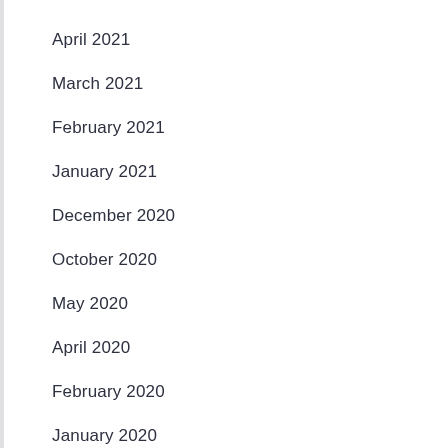April 2021
March 2021
February 2021
January 2021
December 2020
October 2020
May 2020
April 2020
February 2020
January 2020
December 2019